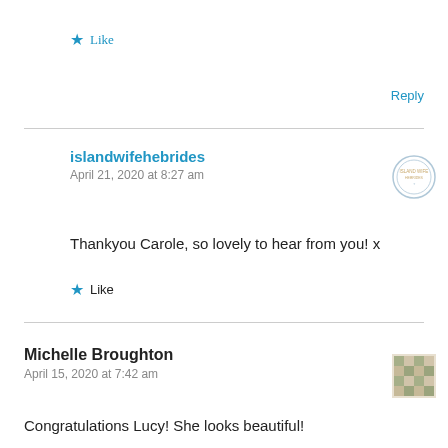★ Like
Reply
islandwifehebrides
April 21, 2020 at 8:27 am
[Figure (logo): Circular stamp/logo avatar for islandwifehebrides]
Thankyou Carole, so lovely to hear from you! x
★ Like
Michelle Broughton
April 15, 2020 at 7:42 am
[Figure (illustration): Decorative tile pattern avatar for Michelle Broughton]
Congratulations Lucy! She looks beautiful!